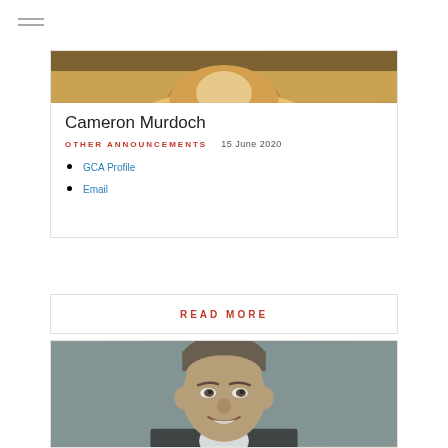[Figure (photo): Partial photo of Cameron Murdoch in yellow/orange shirt, cropped at top of card]
Cameron Murdoch
OTHER ANNOUNCEMENTS    15 June 2020
GCA Profile
Email
READ MORE
[Figure (photo): Portrait photo of a middle-aged man with gray-brown hair, smiling, against gray background]